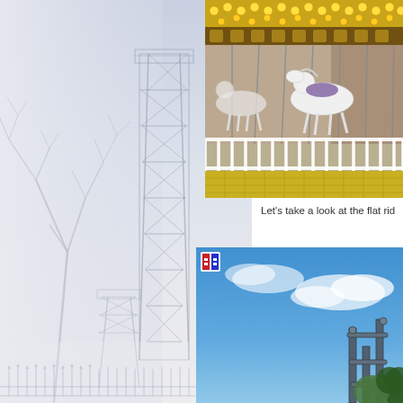[Figure (photo): Misty/foggy scene with bare tree branches on the left and a tall metal lattice tower structure in the center-right, with ornate iron fence at the bottom, very pale blue-white sky atmosphere]
[Figure (photo): Carousel/merry-go-round with white horses and golden lights, people visible, white fence railing in foreground, yellow matting at bottom]
Let's take a look at the flat rid
[Figure (photo): Blue sky with partial view of an amusement park ride or structure, small logo/icon visible in upper left corner of the image]